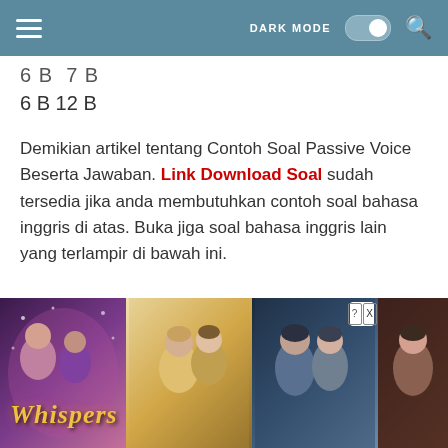DARK MODE [toggle] [search]
6 B 12 B
Demikian artikel tentang Contoh Soal Passive Voice Beserta Jawaban. Link Download Soal sudah tersedia jika anda membutuhkan contoh soal bahasa inggris di atas. Buka jiga soal bahasa inggris lain yang terlampir di bawah ini.
[Figure (illustration): Whispers interactive story app advertisement banner showing romantic scenes with characters, featuring the Whispers logo in gold italic text on a purple background. Close buttons visible in top right.]